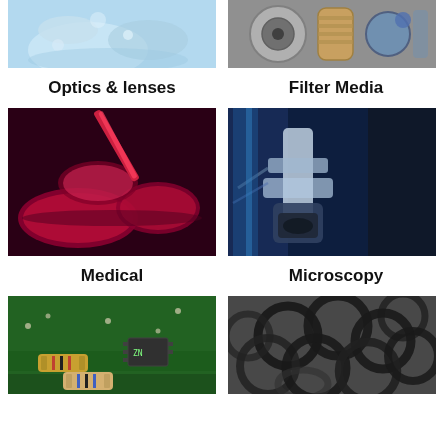[Figure (photo): Close-up of glass lenses or optical elements with water droplets, blue tones]
[Figure (photo): Automotive oil filters and filter media components arranged together]
Optics & lenses
Filter Media
[Figure (photo): Laboratory petri dishes with red liquid and pipette — medical/biological samples]
[Figure (photo): Automated microscopy or robotic lab equipment in blue-lit environment]
Medical
Microscopy
[Figure (photo): Green circuit board with electronic resistors and components — electronics]
[Figure (photo): Pile of black rubber O-rings sealing components]